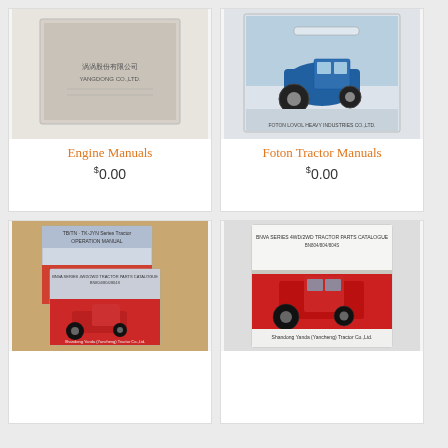[Figure (photo): Engine manual booklet with Chinese text and Yangdong Co. Ltd branding on plain cover]
Engine Manuals
$0.00
[Figure (photo): Foton Tractor manual cover showing a blue tractor with canopy]
Foton Tractor Manuals
$0.00
[Figure (photo): Stack of tractor operation manuals showing red tractors on covers, including Farmtrac Yanda Tractor Co. parts catalogue]
[Figure (photo): Single red tractor parts catalogue booklet with Farmtrac Yanda Tractor Co. Ltd text, showing red cabin tractor]